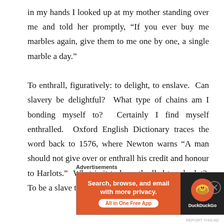in my hands I looked up at my mother standing over me and told her promptly, “If you ever buy me marbles again, give them to me one by one, a single marble a day.”

To enthrall, figuratively: to delight, to enslave.  Can slavery be delightful?  What type of chains am I bonding myself to?  Certainly I find myself enthralled.  Oxford English Dictionary traces the word back to 1576, where Newton warns “A man should not give over or enthrall his credit and honour to Harlots.”  What is it to be enthralled to a harlot?  To be a slave to the movement of bodies.
Advertisements
[Figure (other): DuckDuckGo advertisement banner: orange background on left with text 'Search, browse, and email with more privacy. All in One Free App' and a white pill-shaped button, dark right panel with DuckDuckGo logo and name.]